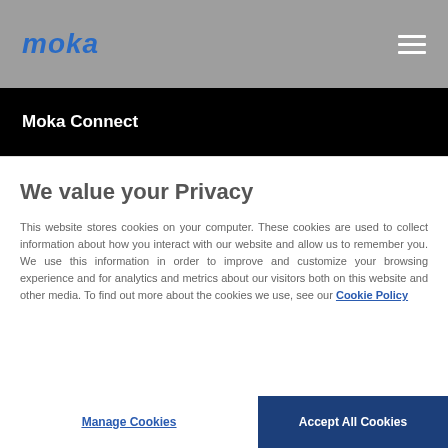moka
Moka Connect
We value your Privacy
This website stores cookies on your computer. These cookies are used to collect information about how you interact with our website and allow us to remember you. We use this information in order to improve and customize your browsing experience and for analytics and metrics about our visitors both on this website and other media. To find out more about the cookies we use, see our Cookie Policy
Manage Cookies
Accept All Cookies